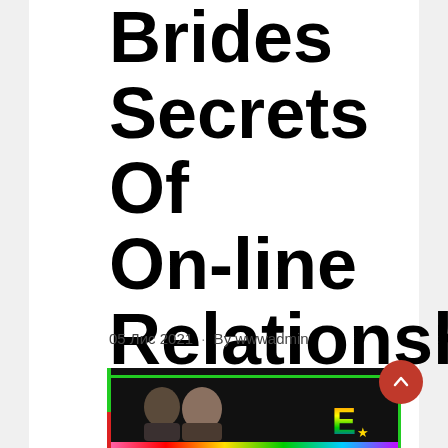Brides Secrets Of On-line Relationships
05 Лис 2021 · By wwwadmin
[Figure (photo): Dark-themed image with a green border strip at top and a colorful gradient strip at bottom, showing two people (partially visible), and a colorful letter E with a gold star in the lower right area. A red circular back-to-top button overlays the top-right of the image.]